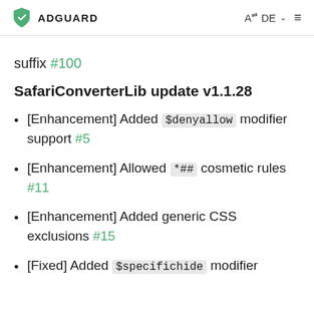ADGUARD  A DE
suffix #100
SafariConverterLib update v1.1.28
[Enhancement] Added $denyallow modifier support #5
[Enhancement] Allowed *## cosmetic rules #11
[Enhancement] Added generic CSS exclusions #15
[Fixed] Added $specifichide modifier